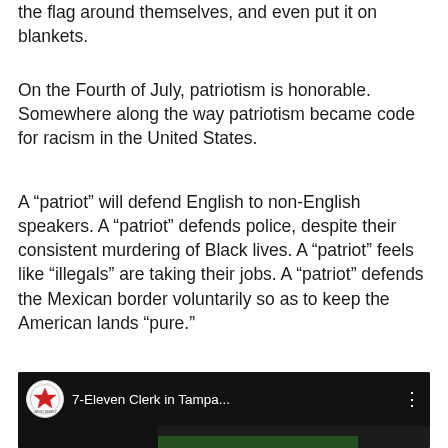the flag around themselves, and even put it on blankets.
On the Fourth of July, patriotism is honorable. Somewhere along the way patriotism became code for racism in the United States.
A “patriot” will defend English to non-English speakers. A “patriot” defends police, despite their consistent murdering of Black lives. A “patriot” feels like “illegals” are taking their jobs. A “patriot” defends the Mexican border voluntarily so as to keep the American lands “pure.”
[Figure (screenshot): YouTube-style video thumbnail showing '7-Eleven Clerk in Tampa...' with a channel logo (red star icon) on a dark background, and a partial store scene below.]